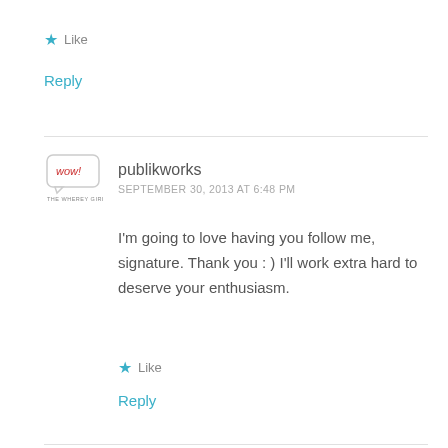★ Like
Reply
publikworks
SEPTEMBER 30, 2013 AT 6:48 PM
I'm going to love having you follow me, signature. Thank you : ) I'll work extra hard to deserve your enthusiasm.
★ Like
Reply